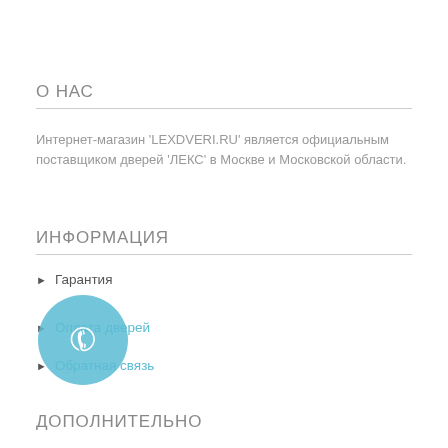О НАС
Интернет-магазин 'LEXDVERI.RU' является официальным поставщиком дверей 'ЛЕКС' в Москве и Московской области.
ИНФОРМАЦИЯ
Гарантия
Оплата дверей
Обратная связь
ДОПОЛНИТЕЛЬНО